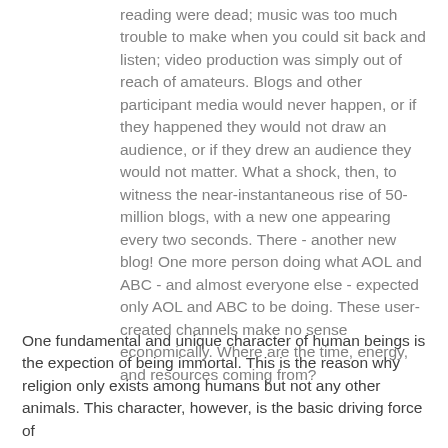reading were dead; music was too much trouble to make when you could sit back and listen; video production was simply out of reach of amateurs. Blogs and other participant media would never happen, or if they happened they would not draw an audience, or if they drew an audience they would not matter. What a shock, then, to witness the near-instantaneous rise of 50-million blogs, with a new one appearing every two seconds. There - another new blog! One more person doing what AOL and ABC - and almost everyone else - expected only AOL and ABC to be doing. These user-created channels make no sense economically. Where are the time, energy, and resources coming from?
One fundamental and unique character of human beings is the expection of being immortal. This is the reason why religion only exists among humans but not any other animals. This character, however, is the basic driving force of